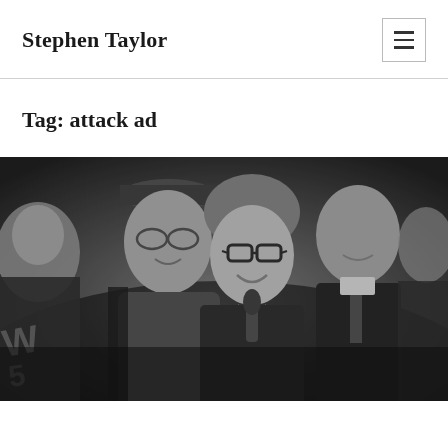Stephen Taylor
Tag: attack ad
[Figure (photo): Black and white photograph of a group of people including a woman with glasses and curly hair smiling at the camera, flanked by men, one wearing a cap and scarf]